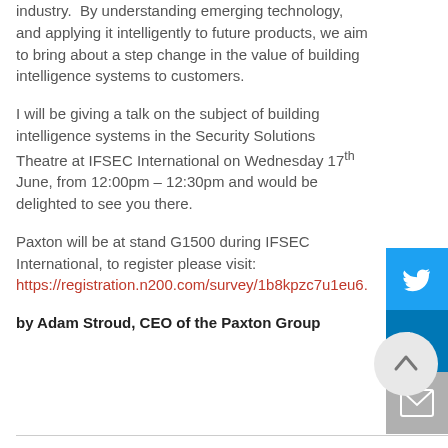industry.  By understanding emerging technology, and applying it intelligently to future products, we aim to bring about a step change in the value of building intelligence systems to customers.
I will be giving a talk on the subject of building intelligence systems in the Security Solutions Theatre at IFSEC International on Wednesday 17th June, from 12:00pm – 12:30pm and would be delighted to see you there.
Paxton will be at stand G1500 during IFSEC International, to register please visit: https://registration.n200.com/survey/1b8kpzc7u1eu6.
by Adam Stroud, CEO of the Paxton Group